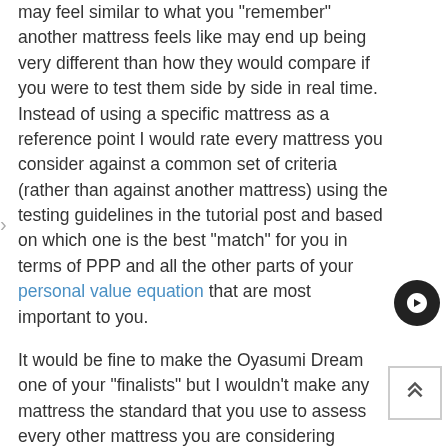may feel similar to what you "remember" another mattress feels like may end up being very different than how they would compare if you were to test them side by side in real time. Instead of using a specific mattress as a reference point I would rate every mattress you consider against a common set of criteria (rather than against another mattress) using the testing guidelines in the tutorial post and based on which one is the best "match" for you in terms of PPP and all the other parts of your personal value equation that are most important to you.
It would be fine to make the Oyasumi Dream one of your "finalists" but I wouldn't make any mattress the standard that you use to assess every other mattress you are considering because it's unlikely that you will find another mattress with exactly the same design so using the Oyasumi Dream as your target means that you would be excluding many other mattresses that use the same quality materials (100%